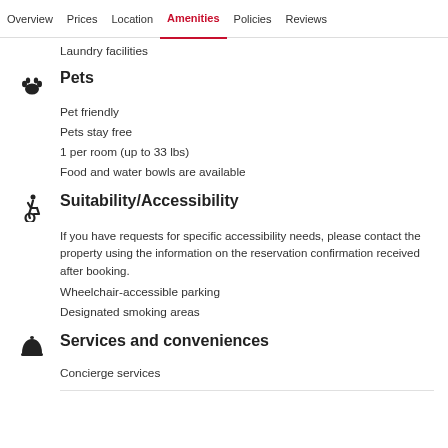Overview  Prices  Location  Amenities  Policies  Reviews
Laundry facilities
Pets
Pet friendly
Pets stay free
1 per room (up to 33 lbs)
Food and water bowls are available
Suitability/Accessibility
If you have requests for specific accessibility needs, please contact the property using the information on the reservation confirmation received after booking.
Wheelchair-accessible parking
Designated smoking areas
Services and conveniences
Concierge services
Daily housekeeping